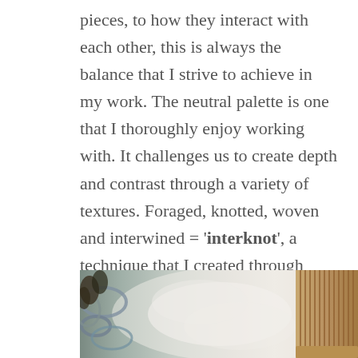pieces, to how they interact with each other, this is always the balance that I strive to achieve in my work. The neutral palette is one that I thoroughly enjoy working with. It challenges us to create depth and contrast through a variety of textures. Foraged, knotted, woven and interwined = 'interknot', a technique that I created through experimentation and one that has become a distinctive signature look for Crossing Threads. The meditative process and how weaving makes me feel 'present' in the moment is what motivates me to create, and I just can't stop!
[Figure (photo): A close-up photo of weaving materials including yarn/threads in neutral blue-grey tones and a wooden weaving loom comb/tool on the right, with soft fluffy white wool or fleece in the background.]